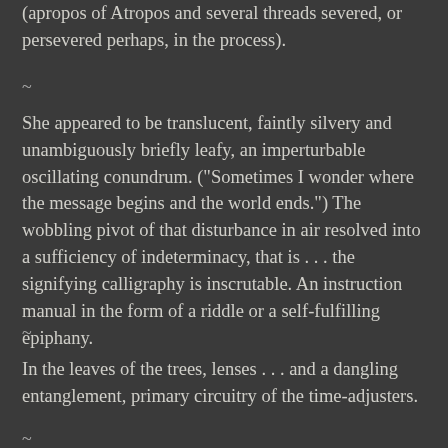(apropos of Atropos and several threads severed, or persevered perhaps, in the process).
~
She appeared to be translucent, faintly silvery and unambiguously briefly leafy, an imperturbable oscillating conundrum. ("Sometimes I wonder where the message begins and the world ends.") The wobbling pivot of that disturbance in air resolved into a sufficiency of indeterminacy, that is . . . the signifying calligraphy is inscrutable. An instruction manual in the form of a riddle or a self-fulfilling epiphany.
~
In the leaves of the trees, lenses . . . and a dangling entanglement, primary circuitry of the time-adjusters.
~